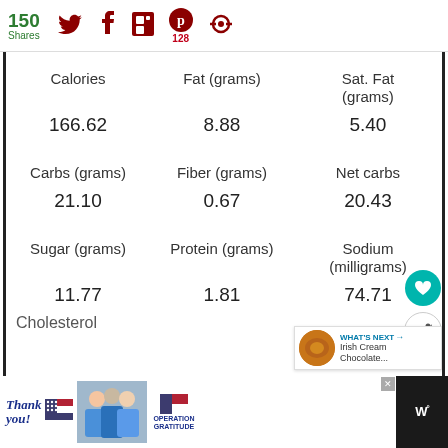150 Shares | Twitter | Facebook | Flipboard | Pinterest 128 | Share
| Calories | Fat (grams) | Sat. Fat (grams) |
| --- | --- | --- |
| 166.62 | 8.88 | 5.40 |
| Carbs (grams) | Fiber (grams) | Net carbs |
| 21.10 | 0.67 | 20.43 |
| Sugar (grams) | Protein (grams) | Sodium (milligrams) |
| 11.77 | 1.81 | 74.71 |
Thank you! | Operation Gratitude ad | weather widget